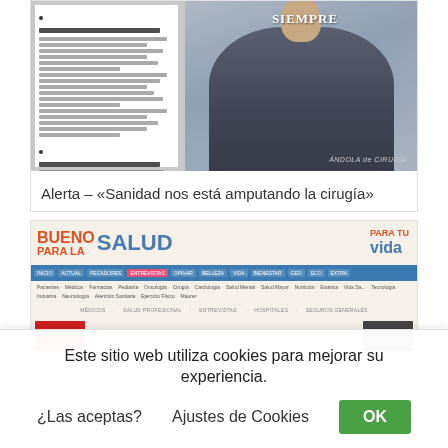[Figure (screenshot): Magazine cover/article showing a man in a suit with text column on left and headline. Text reads 'ÁNDOLA de CIRUGÍA'.]
Alerta – «Sanidad nos está amputando la cirugía»
[Figure (screenshot): Screenshot of the 'Bueno para la Salud ... vida' health website showing navigation menus and category bars.]
Este sitio web utiliza cookies para mejorar su experiencia.
¿Las aceptas?   Ajustes de Cookies   OK